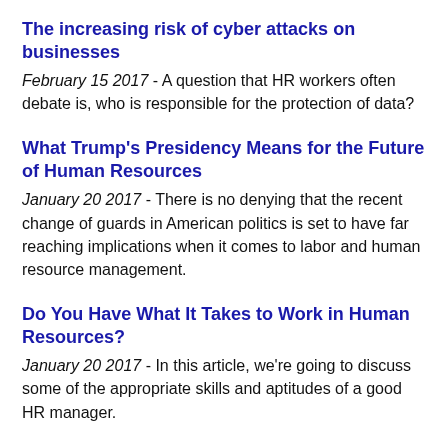The increasing risk of cyber attacks on businesses
February 15 2017 - A question that HR workers often debate is, who is responsible for the protection of data?
What Trump's Presidency Means for the Future of Human Resources
January 20 2017 - There is no denying that the recent change of guards in American politics is set to have far reaching implications when it comes to labor and human resource management.
Do You Have What It Takes to Work in Human Resources?
January 20 2017 - In this article, we're going to discuss some of the appropriate skills and aptitudes of a good HR manager.